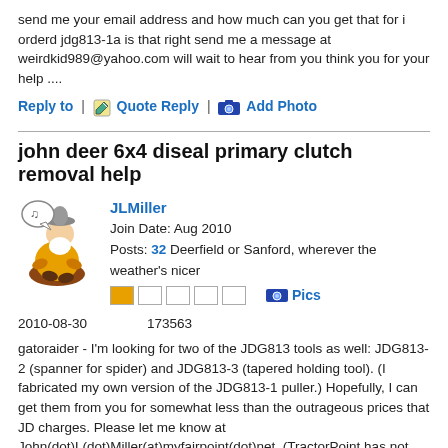send me your email address and how much can you get that for i orderd jdg813-1a is that right send me a message at weirdkid989@yahoo.com will wait to hear from you think you for your help ....
Reply to | Quote Reply | Add Photo
john deer 6x4 diseal primary clutch removal help
JLMiller
Join Date: Aug 2010
Posts: 32 Deerfield or Sanford, wherever the weather's nicer
2010-08-30    173563
gatoraider - I'm looking for two of the JDG813 tools as well: JDG813-2 (spanner for spider) and JDG813-3 (tapered holding tool). (I fabricated my own version of the JDG813-1 puller.) Hopefully, I can get them from you for somewhat less than the outrageous prices that JD charges. Please let me know at John(dot)L(dot)Miller(at)myfairpoint(dot)net. (TractorPoint has not yet